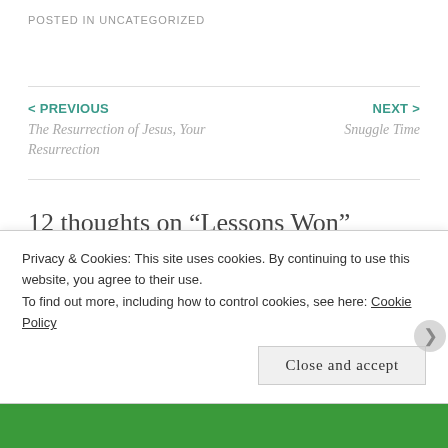POSTED IN UNCATEGORIZED
< PREVIOUS
The Resurrection of Jesus, Your Resurrection
NEXT >
Snuggle Time
12 thoughts on “Lessons Won”
Teri-Tom von Bampus-Graf
APRIL 2, 2016 AT 7:34 PM
Privacy & Cookies: This site uses cookies. By continuing to use this website, you agree to their use.
To find out more, including how to control cookies, see here: Cookie Policy
Close and accept